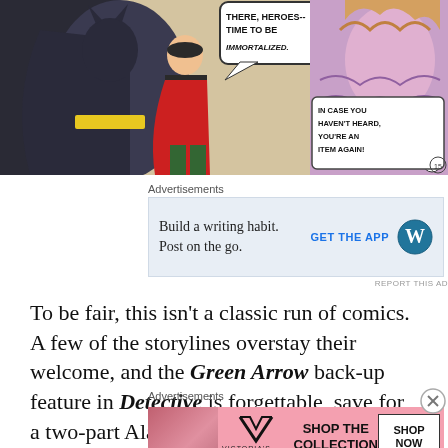[Figure (illustration): Comic book panel showing Batman and Robin standing before a villain. Speech bubbles read 'THERE, HEROES-- TIME TO BE IMMORTALIZED.' and 'IN CASE YOU HAVEN'T HEARD, YOU'RE AN ITEM AGAIN!']
Advertisements
Build a writing habit. Post on the go. GET THE APP [WordPress logo]
REPORT THIS AD
To be fair, this isn't a classic run of comics. A few of the storylines overstay their welcome, and the Green Arrow back-up feature in Detective is forgettable, save for a two-part Alan Moore story, and a delightful turn in Detective
Advertisements
SHOP THE COLLECTION SHOP NOW [Victoria's Secret ad]
REPORT THIS AD